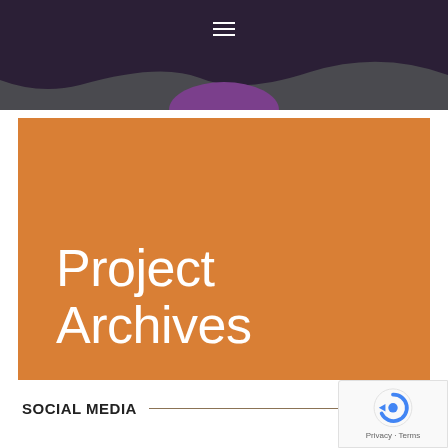[Figure (screenshot): Website header with dark gray/navy wavy background and hamburger menu icon (three white horizontal lines) centered at top]
Project Archives
SOCIAL MEDIA